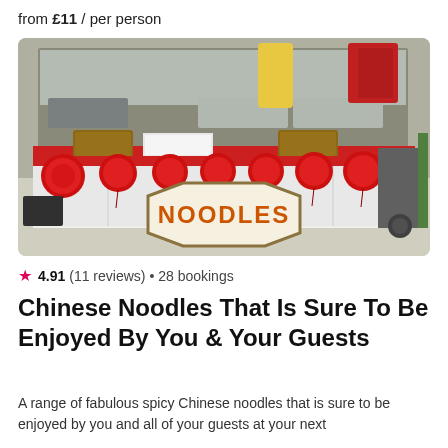from £11 / per person
[Figure (photo): A Chinese noodles food stall with red pompom decorations along the front, wicker baskets and trays on a red counter, and a sign reading 'NOODLES' in orange lettering on a white octagonal panel.]
★ 4.91 (11 reviews) • 28 bookings
Chinese Noodles That Is Sure To Be Enjoyed By You & Your Guests
A range of fabulous spicy Chinese noodles that is sure to be enjoyed by you and all of your guests at your next